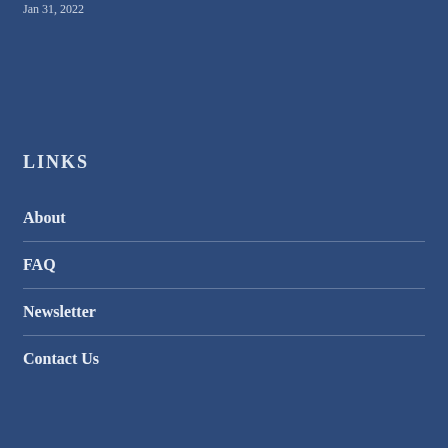Jan 31, 2022
LINKS
About
FAQ
Newsletter
Contact Us